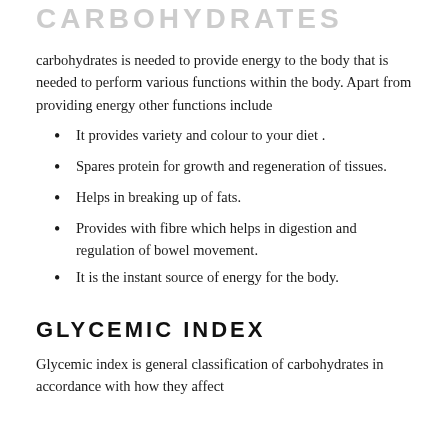CARBOHYDRATES
carbohydrates is needed to provide energy to the body that is needed to perform various functions within the body. Apart from providing energy other functions include
It provides variety and colour to your diet .
Spares protein for growth and regeneration of tissues.
Helps in breaking up of fats.
Provides with fibre which helps in digestion and regulation of bowel movement.
It is the instant source of energy for the body.
GLYCEMIC INDEX
Glycemic index is general classification of carbohydrates in accordance with how they affect